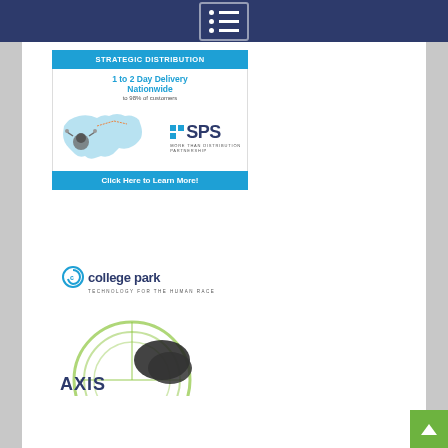Navigation menu icon
[Figure (infographic): SPS Strategic Distribution advertisement: '1 to 2 Day Delivery Nationwide to 98% of customers' with a US map illustration, SPS logo, MORE THAN DISTRIBUTION PARTNERSHIP tagline, and 'Click Here to Learn More!' call-to-action button]
[Figure (logo): College Park logo with tagline 'TECHNOLOGY for the HUMAN RACE' and partial image of AXIS product]